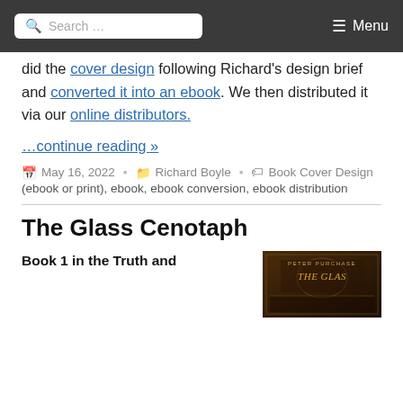Search ... Menu
did the cover design following Richard's design brief and converted it into an ebook. We then distributed it via our online distributors.
…continue reading »
May 16, 2022   Richard Boyle   Book Cover Design (ebook or print), ebook, ebook conversion, ebook distribution
The Glass Cenotaph
Book 1 in the Truth and
[Figure (photo): Book cover of The Glass Cenotaph by Peter Purchase showing a dark golden-toned cover with ornate imagery]